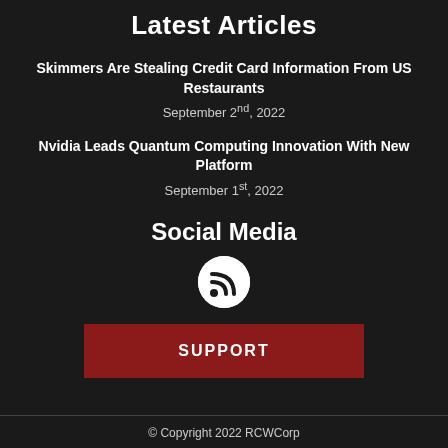Latest Articles
Skimmers Are Stealing Credit Card Information From US Restaurants
September 2nd, 2022
Nvidia Leads Quantum Computing Innovation With New Platform
September 1st, 2022
Social Media
[Figure (illustration): RSS feed icon — white circle with dark RSS signal symbol inside]
SUPPORT
© Copyright 2022 RCWCorp